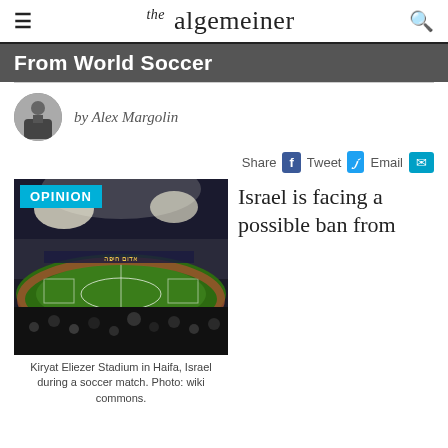the algemeiner
From World Soccer
by Alex Margolin
Share  Tweet  Email
[Figure (photo): Soccer stadium (Kiryat Eliezer Stadium in Haifa, Israel) packed with fans during a night match, with floodlights illuminating the pitch. An OPINION badge overlays the top-left corner.]
Kiryat Eliezer Stadium in Haifa, Israel during a soccer match. Photo: wiki commons.
Israel is facing a possible ban from